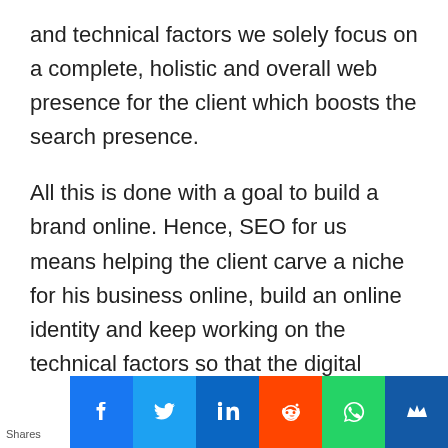and technical factors we solely focus on a complete, holistic and overall web presence for the client which boosts the search presence.
All this is done with a goal to build a brand online. Hence, SEO for us means helping the client carve a niche for his business online, build an online identity and keep working on the technical factors so that the digital assets of the client's business are crawled, indexed and get correlated to the content for which the clien...
[Figure (infographic): Social media sharing bar at the bottom with icons for Facebook, Twitter, LinkedIn, Reddit, WhatsApp, and another platform. Left side shows 'Shares' label.]